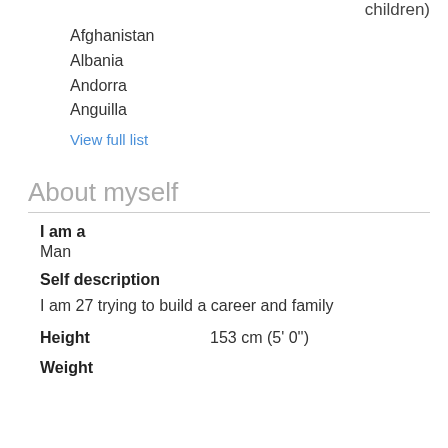children)
Afghanistan
Albania
Andorra
Anguilla
View full list
About myself
I am a
Man
Self description
I am 27 trying to build a career and family
Height
153 cm (5' 0")
Weight